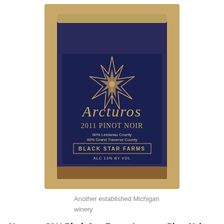[Figure (photo): A bottle of Black Star Farms Arcturos 2011 Pinot Noir with a dark navy blue label featuring a large star/sun graphic and the text: ARCTUROS, 2011 PINOT NOIR, 60% Leelanau County, 40% Grand Traverse County, BLACK STAR FARMS, ALC 13% BY VOL]
Another established Michigan winery
Up next, a 2011 Black Star Farms Arcturos  Pinot Noir, also from Michigan. Again, the color was spectacular, a